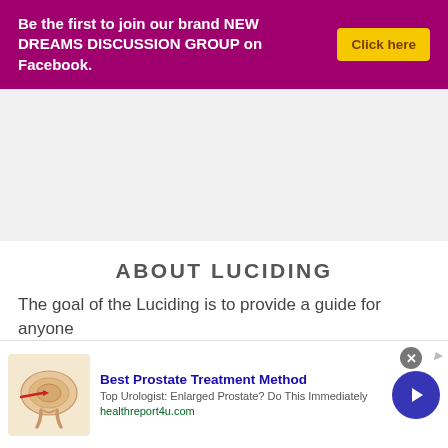Be the first to join our brand NEW DREAMS DISCUSSION GROUP on Facebook. Click here
[Figure (other): Gray advertisement placeholder area]
ABOUT LUCIDING
The goal of the Luciding is to provide a guide for anyone
[Figure (other): Advertisement banner: Best Prostate Treatment Method. Top Urologist: Enlarged Prostate? Do This Immediately. healthreport4u.com. Shows anatomical prostate illustration with red arrow, and a blue circular button with right arrow.]